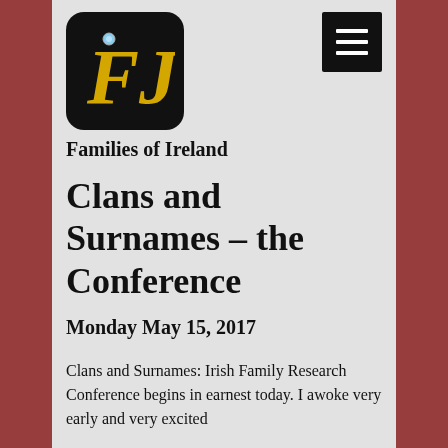[Figure (logo): Families of Ireland logo: black rounded square with gold italic FJ monogram and small gem/diamond accent]
Families of Ireland
Clans and Surnames – the Conference
Monday May 15, 2017
Clans and Surnames: Irish Family Research Conference begins in earnest today. I awoke very early and very excited